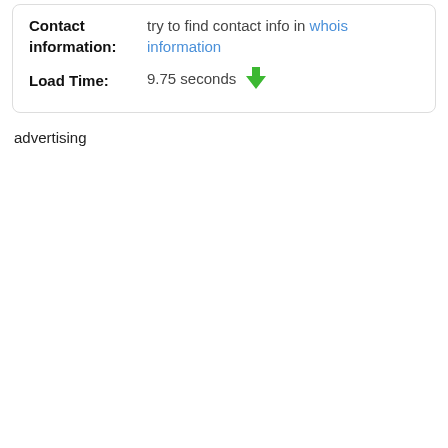Contact information: try to find contact info in whois information
Load Time: 9.75 seconds
advertising